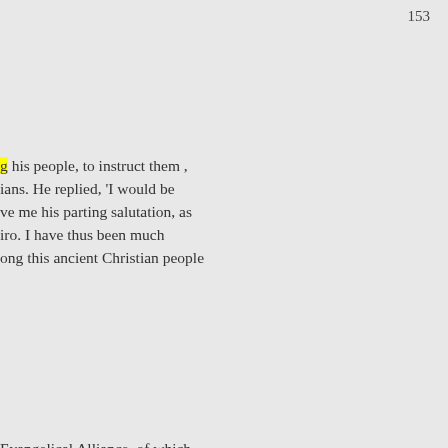153
g his people, to instruct them , ians. He replied, 'I would be ve me his parting salutation, as iro. I have thus been much ong this ancient Christian people
Evangelical Alliance, of which al commission to advance the le makes frequent mention in his of Christ, after having explained
s spent in Cairo and the he returned to Alexandria, and he met in Egypt, Mr. De Leon, since leaving Constantinople. It ion of three brothers in three